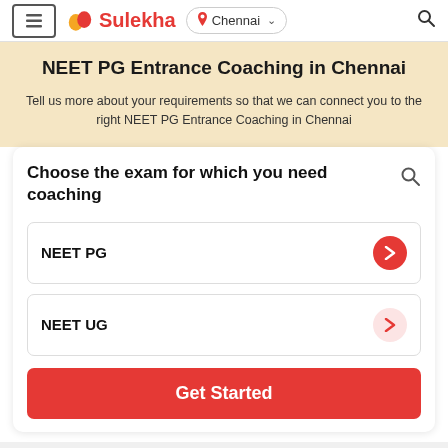Sulekha — Chennai
NEET PG Entrance Coaching in Chennai
Tell us more about your requirements so that we can connect you to the right NEET PG Entrance Coaching in Chennai
Choose the exam for which you need coaching
NEET PG
NEET UG
Get Started
How Sulekha works?